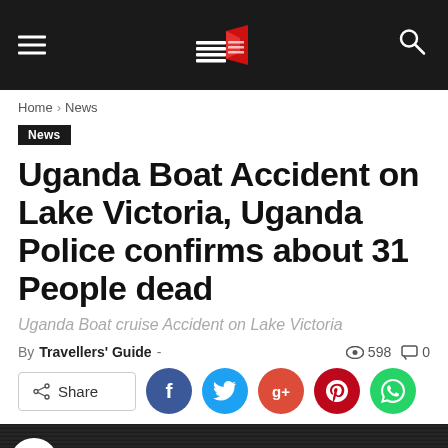[Navigation header with logo, hamburger menu, and search icon]
Home › News
News
Uganda Boat Accident on Lake Victoria, Uganda Police confirms about 31 People dead
Uganda Boat cruise Accident on Lake Victoria
By Travellers' Guide - ● 598 💬 0
Share [social buttons: Facebook, Twitter, Google+, Pinterest, WhatsApp]
[Figure (screenshot): Video thumbnail showing Uganda boat Cruise Accident]